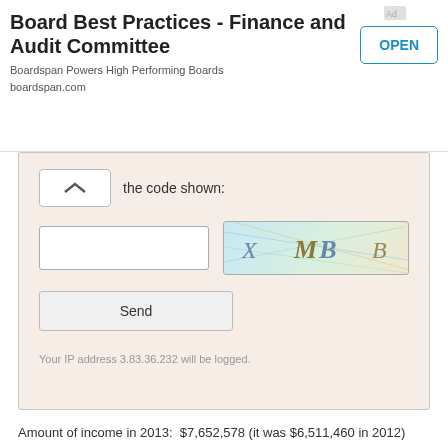[Figure (screenshot): Advertisement banner for Boardspan - Board Best Practices Finance and Audit Committee with OPEN button]
[Figure (screenshot): CAPTCHA form with text input, CAPTCHA image showing X MB B, and Send button. IP address note: Your IP address 3.83.36.232 will be logged.]
Amount of income in 2013: $7,652,578 (it was $6,511,460 in 2012)
This organization:
$7,652,578
Other organizations performing similar types of work:
$2,542,338
Assets in 2013: $3,236,029 (it was $2,201,142 in 2012)
This organization:
$3,236,029
Other organizations performing similar
$807,636